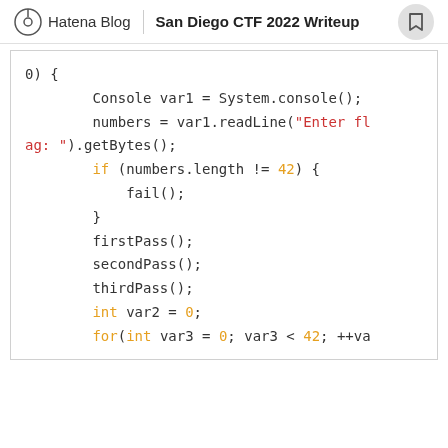Hatena Blog | San Diego CTF 2022 Writeup
Code snippet showing Java-like CTF challenge code with syntax highlighting. Shows variable declarations, console input, length check, firstPass(), secondPass(), thirdPass() calls, and a for loop.